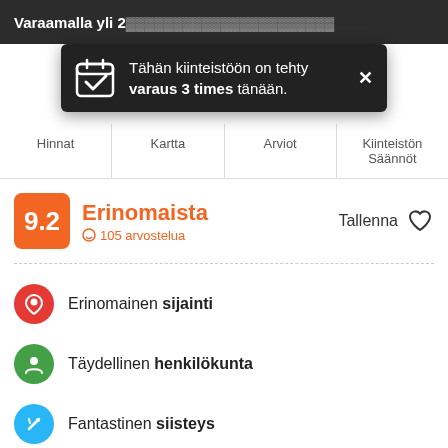Varaamalla yli 2...
[Figure (screenshot): Tooltip notification: Tähän kiinteistöön on tehty varaus 3 times tänään.]
Hinnat | Kartta | Arviot | Kiinteistön Säännöt
9.2 Erinomaista 105 arvostelua  Tallenna
Erinomainen sijainti
Täydellinen henkilökunta
Fantastinen siisteys
Dingo Backpackers Hostel is owned by backpackers, who traveled around Asia, Europe, and Oceania for the last 8 years. Our team is always ready to welcome you in the hostel at any time of the day and once you arrive we will let you experience the real georgian atmosphere in backpacking style.